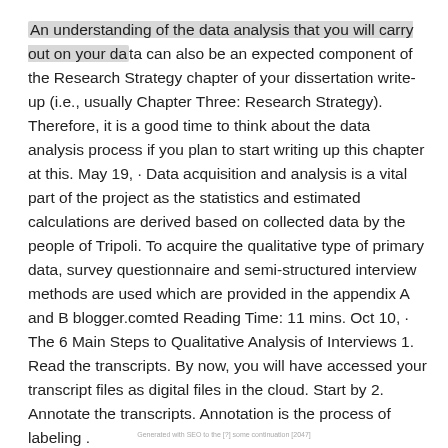An understanding of the data analysis that you will carry out on your data can also be an expected component of the Research Strategy chapter of your dissertation write-up (i.e., usually Chapter Three: Research Strategy). Therefore, it is a good time to think about the data analysis process if you plan to start writing up this chapter at this. May 19,  · Data acquisition and analysis is a vital part of the project as the statistics and estimated calculations are derived based on collected data by the people of Tripoli. To acquire the qualitative type of primary data, survey questionnaire and semi-structured interview methods are used which are provided in the appendix A and B blogger.comted Reading Time: 11 mins. Oct 10,  · The 6 Main Steps to Qualitative Analysis of Interviews 1. Read the transcripts. By now, you will have accessed your transcript files as digital files in the cloud. Start by 2. Annotate the transcripts. Annotation is the process of labeling .
Generated with SEO to the [?] some continuation [2047]